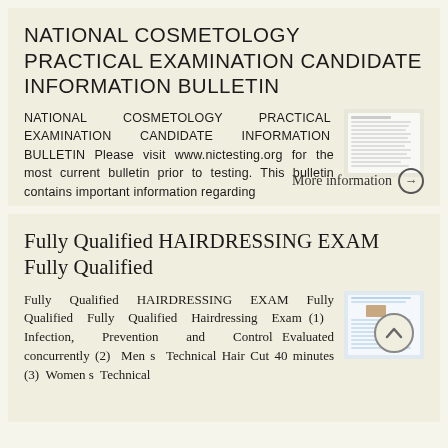NATIONAL COSMETOLOGY PRACTICAL EXAMINATION CANDIDATE INFORMATION BULLETIN
NATIONAL COSMETOLOGY PRACTICAL EXAMINATION CANDIDATE INFORMATION BULLETIN Please visit www.nictesting.org for the most current bulletin prior to testing. This bulletin contains important information regarding
[Figure (other): Thumbnail image of a document page showing text content]
More information →
Fully Qualified HAIRDRESSING EXAM Fully Qualified
Fully Qualified HAIRDRESSING EXAM Fully Qualified Fully Qualified Hairdressing Exam (1) Infection, Prevention and Control Evaluated concurrently (2) Men s Technical Hair Cut 40 minutes (3) Women s Technical
[Figure (other): Thumbnail image of a hairdressing exam document with a photo]